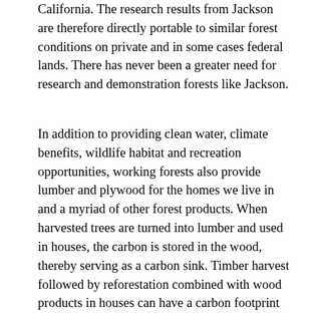California. The research results from Jackson are therefore directly portable to similar forest conditions on private and in some cases federal lands. There has never been a greater need for research and demonstration forests like Jackson.
In addition to providing clean water, climate benefits, wildlife habitat and recreation opportunities, working forests also provide lumber and plywood for the homes we live in and a myriad of other forest products. When harvested trees are turned into lumber and used in houses, the carbon is stored in the wood, thereby serving as a carbon sink. Timber harvest followed by reforestation combined with wood products in houses can have a carbon footprint less than other construction materials such as steel and concrete. Jackson is one place where research and demonstration of sustainable forestry can help inform optimal carbon sequestration strategies for California's forests.